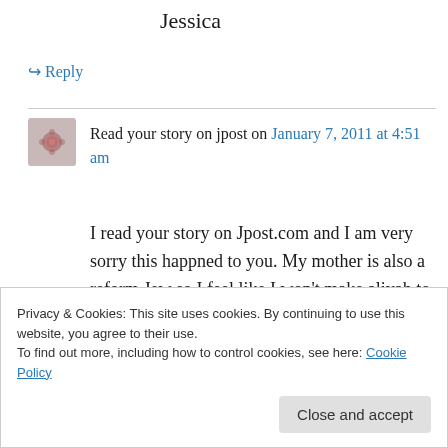Jessica
↪ Reply
Read your story on jpost on January 7, 2011 at 4:51 am
I read your story on Jpost.com and I am very sorry this happned to you. My mother is also a reform Jew so I feel like I won't make aliyah to Israel because of your story and until the law is changed. I am deeply sorry to hear of your story
Privacy & Cookies: This site uses cookies. By continuing to use this website, you agree to their use.
To find out more, including how to control cookies, see here: Cookie Policy